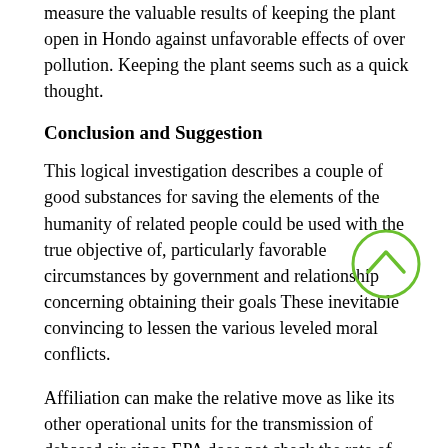measure the valuable results of keeping the plant open in Hondo against unfavorable effects of over pollution. Keeping the plant seems such as a quick thought.
Conclusion and Suggestion
This logical investigation describes a couple of good substances for saving the elements of the humanity of related people could be used with the true objective of, particularly favorable circumstances by government and relationship concerning obtaining their goals These inevitable convincing to lessen the various leveled moral conflicts.
Affiliation can make the relative move as like its other operational units for the transmission of debased air since EPA does not check the rate of defilement in the night time. The business can talk from close-by managerial bodies that they might offer occupations to neighborhood people, however not move the affiliation